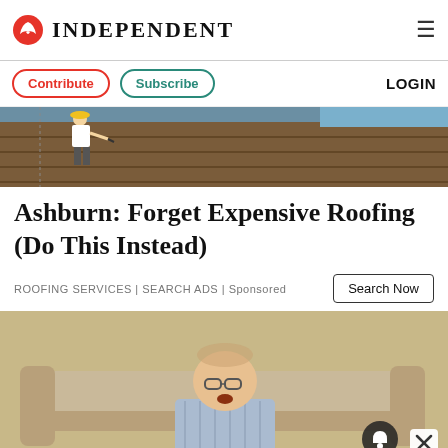INDEPENDENT
Contribute | Subscribe | LOGIN
[Figure (photo): Worker on a rooftop/construction site with wooden beams visible]
Ashburn: Forget Expensive Roofing (Do This Instead)
ROOFING SERVICES | SEARCH ADS | Sponsored
[Figure (photo): Elderly man with glasses sitting on a couch, mouth open, with a notification bell icon and close X button overlaid]